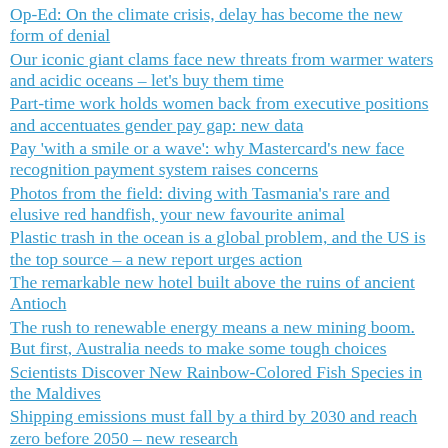Op-Ed: On the climate crisis, delay has become the new form of denial
Our iconic giant clams face new threats from warmer waters and acidic oceans – let's buy them time
Part-time work holds women back from executive positions and accentuates gender pay gap: new data
Pay 'with a smile or a wave': why Mastercard's new face recognition payment system raises concerns
Photos from the field: diving with Tasmania's rare and elusive red handfish, your new favourite animal
Plastic trash in the ocean is a global problem, and the US is the top source – a new report urges action
The remarkable new hotel built above the ruins of ancient Antioch
The rush to renewable energy means a new mining boom. But first, Australia needs to make some tough choices
Scientists Discover New Rainbow-Colored Fish Species in the Maldives
Shipping emissions must fall by a third by 2030 and reach zero before 2050 – new research
Six new species of miniature frog have been discovered in Mexico
Smart Asian women are the new targets of CCP global online repression